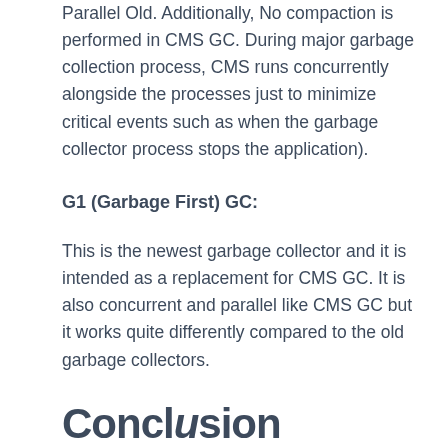Parallel Old. Additionally, No compaction is performed in CMS GC. During major garbage collection process, CMS runs concurrently alongside the processes just to minimize critical events such as when the garbage collector process stops the application).
G1 (Garbage First) GC:
This is the newest garbage collector and it is intended as a replacement for CMS GC. It is also concurrent and parallel like CMS GC but it works quite differently compared to the old garbage collectors.
Conclusion